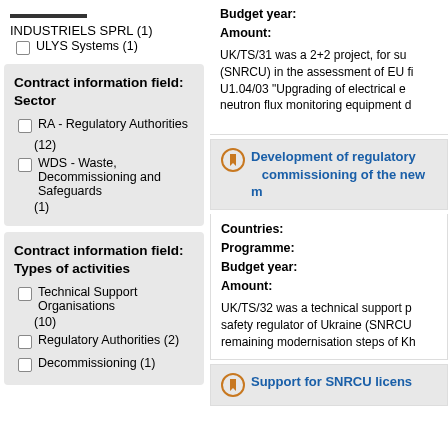INDUSTRIELS SPRL (1)
ULYS Systems (1)
Contract information field: Sector
RA - Regulatory Authorities (12)
WDS - Waste, Decommissioning and Safeguards (1)
Contract information field: Types of activities
Technical Support Organisations (10)
Regulatory Authorities (2)
Decommissioning (1)
Budget year:
Amount:
UK/TS/31 was a 2+2 project, for su(SNRCU) in the assessment of EU fi U1.04/03 "Upgrading of electrical e neutron flux monitoring equipment d
Development of regulatory... commissioning of the new m
Countries:
Programme:
Budget year:
Amount:
UK/TS/32 was a technical support p safety regulator of Ukraine (SNRCU remaining modernisation steps of Kh
Support for SNRCU licens